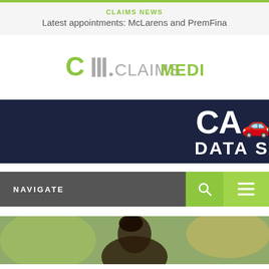CLAIMS NEWS
Latest appointments: McLarens and PremFina
[Figure (logo): CM.CLAIMSMEDIA logo in green and grey]
[Figure (illustration): Dark navy advertisement banner with white text: CA DATA S (partially visible, likely CAR DATA SOLUTIONS or similar)]
[Figure (infographic): Navigation bar with NAVIGATE label, search icon, and hamburger menu on green background]
[Figure (photo): Partial photo of a person at the bottom of the page, visible from neck/shoulders up]